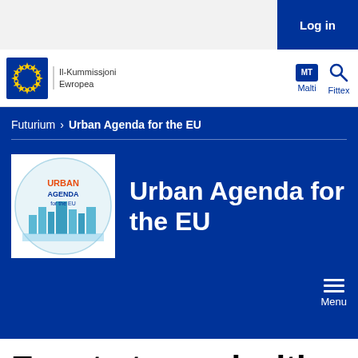Log in
[Figure (logo): European Commission logo with EU stars and text 'Il-Kummissjoni Ewropea']
MT Malti | Fittex
Futurium > Urban Agenda for the EU
Urban Agenda for the EU
Events tagged with "smart cities"